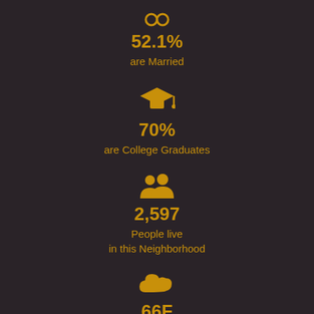[Figure (infographic): Golden/amber colored infographic on dark brown background showing neighborhood statistics: 52.1% are Married (ring/wedding icon), 70% are College Graduates (graduation cap icon), 2,597 People live in this Neighborhood (people group icon), 66F temperature (cloud icon)]
52.1%
are Married
70%
are College Graduates
2,597
People live in this Neighborhood
66F